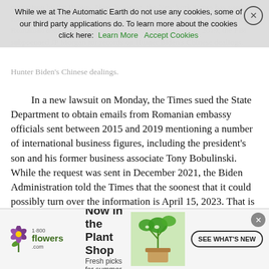corruption by the Bidens. Now, however, the New York Times has sued to force the Biden Administration to turn over information on Hunter Biden's Romanian dealings in lawsuits after another report that. In 2019, the FBI subpoenaed JP Morgan for records on Hunter Biden's Chinese dealings.
[Figure (screenshot): Cookie consent banner overlay: 'While we at The Automatic Earth do not use any cookies, some of our third party applications do. To learn more about the cookies click here: Learn More | Accept Cookies' with a close (X) button on the right.]
In a new lawsuit on Monday, the Times sued the State Department to obtain emails from Romanian embassy officials sent between 2015 and 2019 mentioning a number of international business figures, including the president's son and his former business associate Tony Bobulinski. While the request was sent in December 2021, the Biden Administration told the Times that the soonest that it could possibly turn over the information is April 15, 2023. That is after the mid-term elections. This story could be a bit awkward for the White House staff. When the New York Times Ken Vogel wrote about Hunter Biden's dealings as a potential “significant liability,” Biden officials viciously attacked him while others suggested that he was a pawn of Russian or Trump disinformation. Of course,
[Figure (screenshot): Advertisement banner for 1-800-Flowers.com: '1-800 flowers.com logo, Now in the Plant Shop, Fresh picks for summer, SEE WHAT'S NEW button, plant photo' with a close (X) button.]